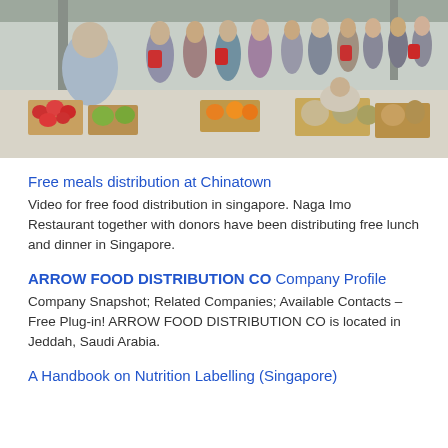[Figure (photo): Outdoor food distribution scene with people queuing and boxes of vegetables and produce on the ground under a covered area.]
Free meals distribution at Chinatown
Video for free food distribution in singapore. Naga Imo Restaurant together with donors have been distributing free lunch and dinner in Singapore.
ARROW FOOD DISTRIBUTION CO Company Profile
Company Snapshot; Related Companies; Available Contacts – Free Plug-in! ARROW FOOD DISTRIBUTION CO is located in Jeddah, Saudi Arabia.
A Handbook on Nutrition Labelling (Singapore)